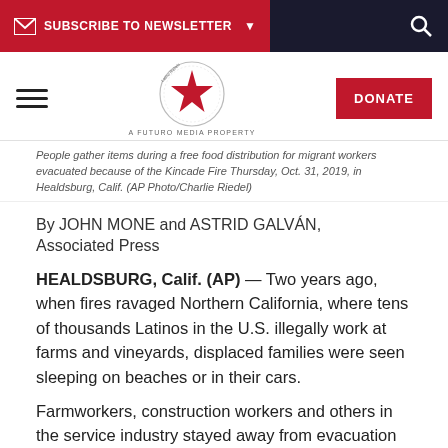SUBSCRIBE TO NEWSLETTER
People gather items during a free food distribution for migrant workers evacuated because of the Kincade Fire Thursday, Oct. 31, 2019, in Healdsburg, Calif. (AP Photo/Charlie Riedel)
By JOHN MONE and ASTRID GALVÁN, Associated Press
HEALDSBURG, Calif. (AP) — Two years ago, when fires ravaged Northern California, where tens of thousands Latinos in the U.S. illegally work at farms and vineyards, displaced families were seen sleeping on beaches or in their cars.
Farmworkers, construction workers and others in the service industry stayed away from evacuation centers for fear that